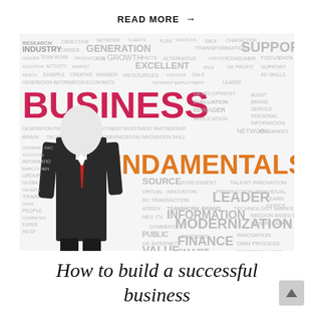READ MORE →
[Figure (illustration): Business Fundamentals word cloud with a businessman figure (light bulb head, suit) surrounded by business-related terms in various sizes and colors including BUSINESS in magenta, FUNDAMENTALS in orange, GENERATION, SUPPORT, LEADER, MODERNIZATION, FINANCE, INFORMATION, SOURCE, etc.]
How to build a successful business